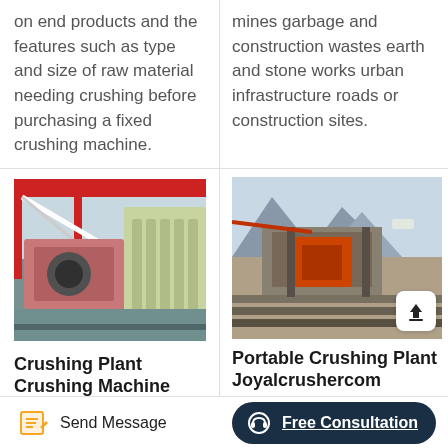on end products and the features such as type and size of raw material needing crushing before purchasing a fixed crushing machine.
mines garbage and construction wastes earth and stone works urban infrastructure roads or construction sites.
[Figure (photo): Industrial crushing plant machinery in a factory setting with red crane structure and green/white equipment]
Crushing Plant Crushing Machine
[Figure (photo): Outdoor portable crushing plant at a quarry/mine site with rocky terrain, conveyor belts visible]
Portable Crushing Plant Joyalcrushercom
Send Message
Free Consultation